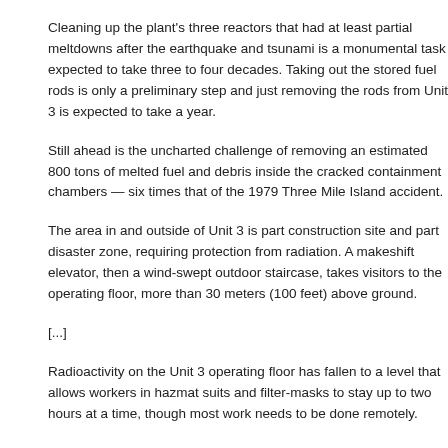Cleaning up the plant's three reactors that had at least partial meltdowns after the earthquake and tsunami is a monumental task expected to take three to four decades. Taking out the stored fuel rods is only a preliminary step and just removing the rods from Unit 3 is expected to take a year.
Still ahead is the uncharted challenge of removing an estimated 800 tons of melted fuel and debris inside the cracked containment chambers — six times that of the 1979 Three Mile Island accident.
The area in and outside of Unit 3 is part construction site and part disaster zone, requiring protection from radiation. A makeshift elevator, then a wind-swept outdoor staircase, takes visitors to the operating floor, more than 30 meters (100 feet) above ground.
[...]
Radioactivity on the Unit 3 operating floor has fallen to a level that allows workers in hazmat suits and filter-masks to stay up to two hours at a time, though most work needs to be done remotely.
The segments of the new cover were pre-assembled and are being installed on the roof by remote-controlled cranes. With two pieces left, the plant operator says the cover will be completed in February.